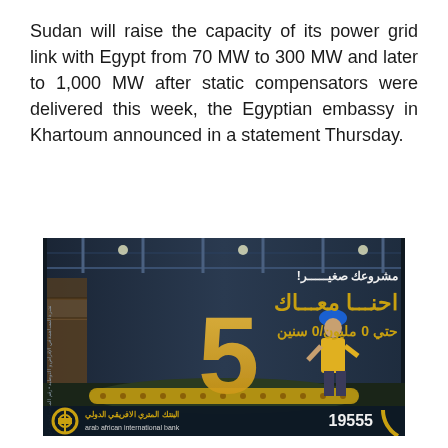Sudan will raise the capacity of its power grid link with Egypt from 70 MW to 300 MW and later to 1,000 MW after static compensators were delivered this week, the Egyptian embassy in Khartoum announced in a statement Thursday.
[Figure (illustration): Arab African International Bank advertisement banner showing an industrial warehouse scene with a worker in a hard hat, a large gold number '5', Arabic text reading 'مشروعك صغير! احنا معاك حتي 0 مليون/0 سنين', the bank logo, name in Arabic and English 'arab african international bank', and phone number 19555.]